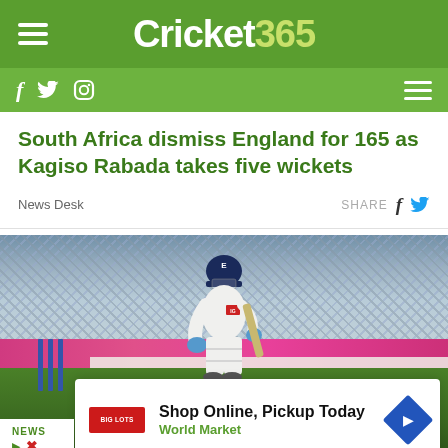Cricket 365
South Africa dismiss England for 165 as Kagiso Rabada takes five wickets
News Desk
SHARE
[Figure (photo): Cricket batsman playing a shot during a Test match, with stumps visible and a crowd in the background. Pink advertising hoarding behind.]
Shop Online, Pickup Today
World Market
NEWS